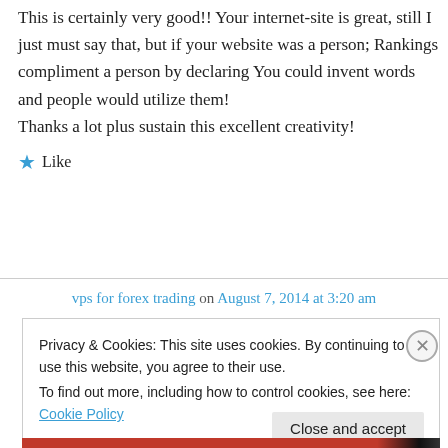This is certainly very good!! Your internet-site is great, still I just must say that, but if your website was a person; Rankings compliment a person by declaring You could invent words and people would utilize them!
Thanks a lot plus sustain this excellent creativity!
★ Like
vps for forex trading on August 7, 2014 at 3:20 am
Privacy & Cookies: This site uses cookies. By continuing to use this website, you agree to their use.
To find out more, including how to control cookies, see here: Cookie Policy
Close and accept